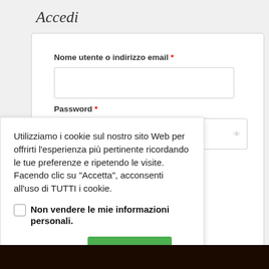Accedi
Nome utente o indirizzo email *
Password *
Utilizziamo i cookie sul nostro sito Web per offrirti l'esperienza più pertinente ricordando le tue preferenze e ripetendo le visite. Facendo clic su "Accetta", acconsenti all'uso di TUTTI i cookie.
Non vendere le mie informazioni personali.
Cookie settings
ACCETTO